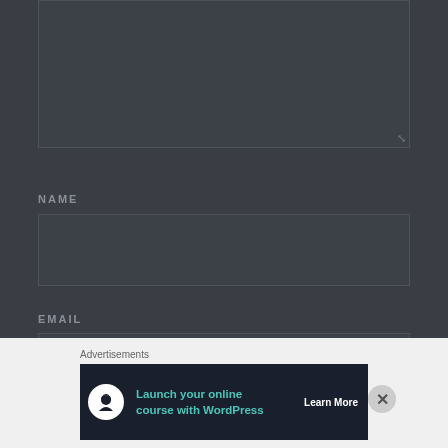[Figure (screenshot): Text area input field (comment box) with dark background and resize handle at bottom-right corner]
NAME
[Figure (screenshot): Name input field, empty, dark background]
EMAIL
[Figure (screenshot): Email input field, empty, dark background]
WEBSITE
[Figure (screenshot): Website input field, partially visible, dark background]
Advertisements
[Figure (infographic): Advertisement banner: Launch your online course with WordPress. Learn More button. Dark background with teal text and white icon.]